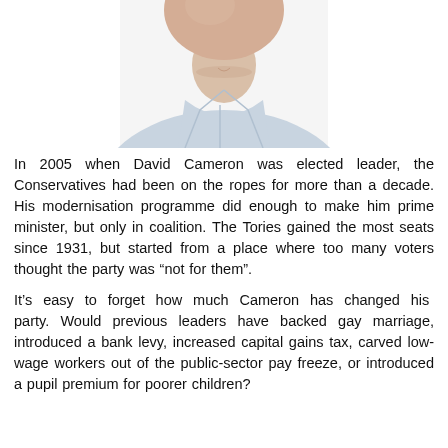[Figure (photo): Partial photo of a man from shoulders up, wearing a light blue shirt, face partially cut off at top of frame, white background.]
In 2005 when David Cameron was elected leader, the Conservatives had been on the ropes for more than a decade. His modernisation programme did enough to make him prime minister, but only in coalition. The Tories gained the most seats since 1931, but started from a place where too many voters thought the party was “not for them”.
It’s easy to forget how much Cameron has changed his party. Would previous leaders have backed gay marriage, introduced a bank levy, increased capital gains tax, carved low-wage workers out of the public-sector pay freeze, or introduced a pupil premium for poorer children?